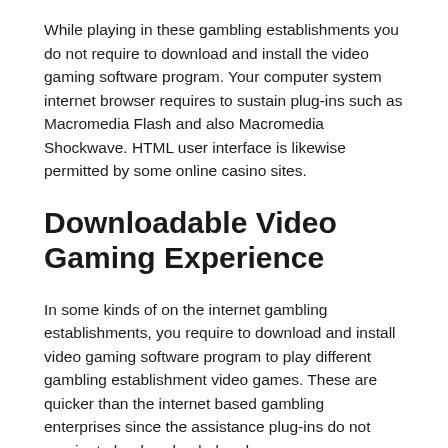While playing in these gambling establishments you do not require to download and install the video gaming software program. Your computer system internet browser requires to sustain plug-ins such as Macromedia Flash and also Macromedia Shockwave. HTML user interface is likewise permitted by some online casino sites.
Downloadable Video Gaming Experience
In some kinds of on the internet gambling establishments, you require to download and install video gaming software program to play different gambling establishment video games. These are quicker than the internet based gambling enterprises since the assistance plug-ins do not require to be downloaded and